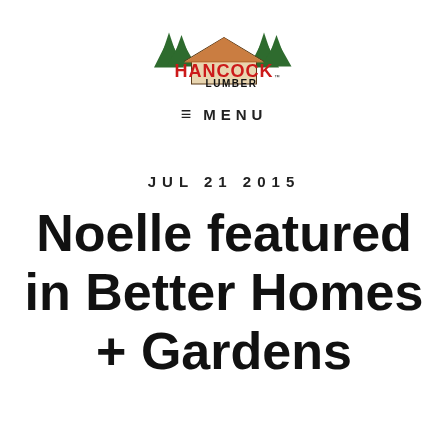[Figure (logo): Hancock Lumber logo with house silhouette and pine trees, red text HANCOCK and black text LUMBER with trademark symbol]
≡  MENU
JUL 21 2015
Noelle featured in Better Homes + Gardens